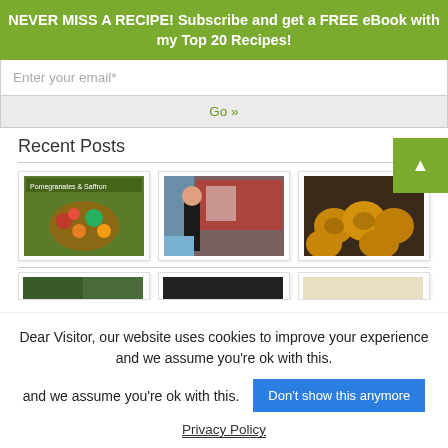NEVER MISS A RECIPE! Subscribe and get a FREE eBook with my Top 20 Recipes!
Enter your email*
Go »
Recent Posts
[Figure (photo): Book cover: Pomegranates & Saffron, showing a colorful dish with fruits and vegetables]
[Figure (photo): Person in black standing in front of a presentation screen with red and white graphics]
[Figure (photo): Close-up of golden pastries/buns on a dark background]
[Figure (photo): Partially visible image row - three more images cropped at bottom]
Dear Visitor, our website uses cookies to improve your experience and we assume you're ok with this.
Don't show this anymore
Privacy Policy